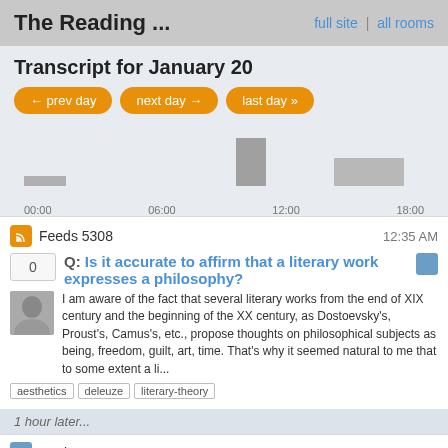The Reading ... | full site | all rooms
Transcript for January 20
[Figure (bar-chart): Activity over time]
Feeds 5308   12:35 AM
Q: Is it accurate to affirm that a literary work expresses a philosophy?
I am aware of the fact that several literary works from the end of XIX century and the beginning of the XX century, as Dostoevsky's, Proust's, Camus's, etc., propose thoughts on philosophical subjects as being, freedom, guilt, art, time. That's why it seemed natural to me that to some extent a li...
aesthetics  deleuze  literary-theory
1 hour later...
Bookworm   1:39 AM
Q: What was the first fan fiction?
I'm looking for the earliest example of fan fiction, which I'd define as an unauthorized sequel (or, I suppose, a creative rewrite) of a fictional